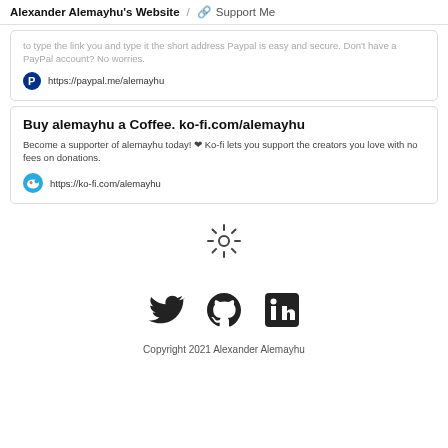Alexander Alemayhu's Website / 🔗 Support Me
to type the link you and type it the short address Paypal is easy and secure. Don't have a PayPal account? No worries.
https://paypal.me/alemayhu
Buy alemayhu a Coffee. ko-fi.com/alemayhu
Become a supporter of alemayhu today! ❤ Ko-fi lets you support the creators you love with no fees on donations.
https://ko-fi.com/alemayhu
[Figure (illustration): Sun/loading spinner icon]
[Figure (illustration): Social media icons: Twitter bird, GitHub octocat, LinkedIn logo]
Copyright 2021 Alexander Alemayhu